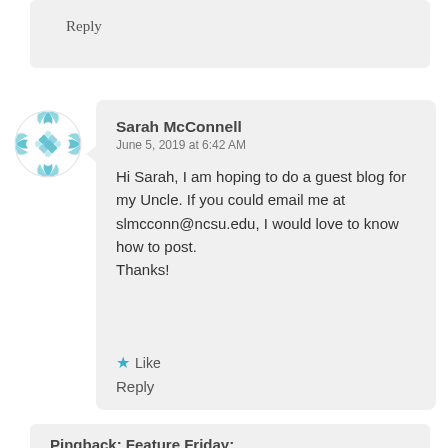Reply
[Figure (illustration): Round avatar icon with blue geometric/floral mosaic pattern on white background]
Sarah McConnell
June 5, 2019 at 6:42 AM
Hi Sarah, I am hoping to do a guest blog for my Uncle. If you could email me at slmcconn@ncsu.edu, I would love to know how to post.
Thanks!
★ Like
Reply
Pingback: Feature Friday:
Fatherhood – Paul Soothe World